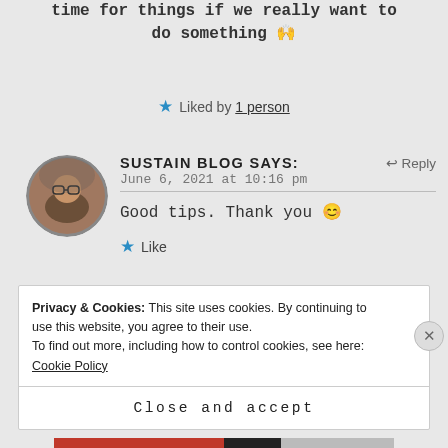time for things if we really want to do something 🙌
★ Liked by 1 person
SUSTAIN BLOG says:
June 6, 2021 at 10:16 pm
Good tips. Thank you 😊
★ Like
Privacy & Cookies: This site uses cookies. By continuing to use this website, you agree to their use. To find out more, including how to control cookies, see here: Cookie Policy
Close and accept